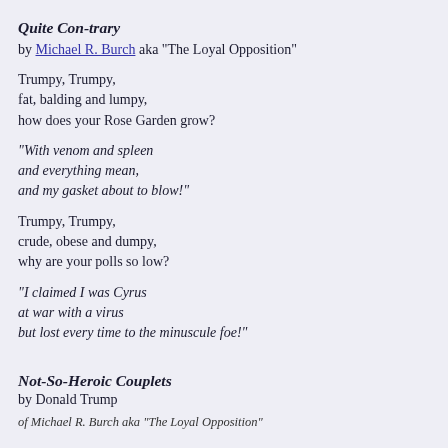Quite Con-trary
by Michael R. Burch aka "The Loyal Opposition"
Trumpy, Trumpy,
fat, balding and lumpy,
how does your Rose Garden grow?
"With venom and spleen
and everything mean,
and my gasket about to blow!"
Trumpy, Trumpy,
crude, obese and dumpy,
why are your polls so low?
"I claimed I was Cyrus
at war with a virus
but lost every time to the minuscule foe!"
Not-So-Heroic Couplets
by Donald Trump
of Michael R. Burch aka "The Loyal Opposition"